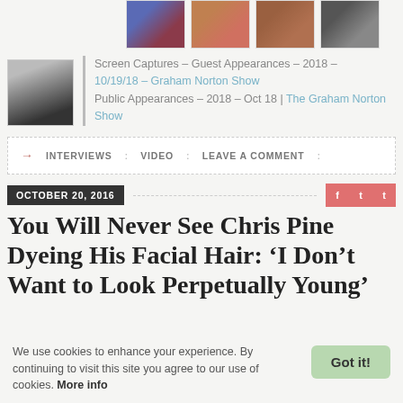[Figure (photo): Four thumbnail images of a person in various outfits, partial view at top of page]
Screen Captures – Guest Appearances – 2018 – 10/19/18 – Graham Norton Show
Public Appearances – 2018 – Oct 18 | The Graham Norton Show
→ INTERVIEWS : VIDEO : LEAVE A COMMENT :
OCTOBER 20, 2016
You Will Never See Chris Pine Dyeing His Facial Hair: 'I Don't Want to Look Perpetually Young'
We use cookies to enhance your experience. By continuing to visit this site you agree to our use of cookies. More info